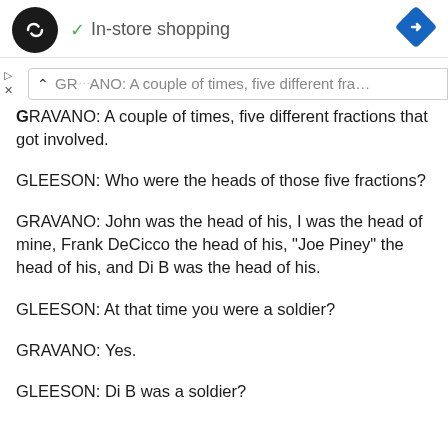[Figure (screenshot): Mobile app ad bar with logo circle, in-store shopping label with green checkmark, and blue navigation diamond icon]
GRAVANO: A couple of times, five different fractions that got involved.
GLEESON: Who were the heads of those five fractions?
GRAVANO: John was the head of his, I was the head of mine, Frank DeCicco the head of his, “Joe Piney” the head of his, and Di B was the head of his.
GLEESON: At that time you were a soldier?
GRAVANO: Yes.
GLEESON: Di B was a soldier?